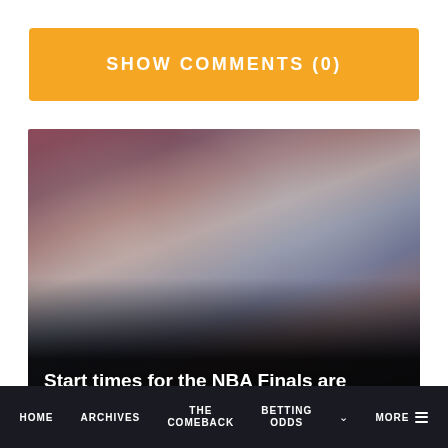SHOW COMMENTS (0)
[Figure (photo): Group photo of Colorado Avalanche players celebrating, presumably after winning the Stanley Cup, wearing white jerseys and championship hats, smiling and posing with the Stanley Cup trophy visible in the lower right.]
Start times for the NBA Finals are harder to defend now after watching the Stanley Cup Final
[Figure (photo): Partially visible second article photo showing a red-themed sports image, cropped at the bottom of the page.]
HOME  ARCHIVES  THE COMEBACK  BETTING ODDS  MORE